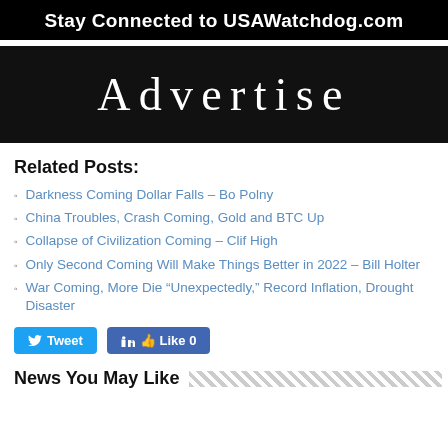Stay Connected to USAWatchdog.com
[Figure (other): Black banner with text 'Advertise' in large serif font]
Related Posts:
Darkness Coming Dollar Falls – Bo Polny
China Troubles, Crash Coming, Gold and BTC Up
Collapse of Civilization Coming – Clif High
Only Second Coming Will Make Things Better in 2022 – Bill Holter
War Coming, More Die “Unexpectedly,” Record Inflation, Drought Disaster
Tweet  Like 0
News You May Like